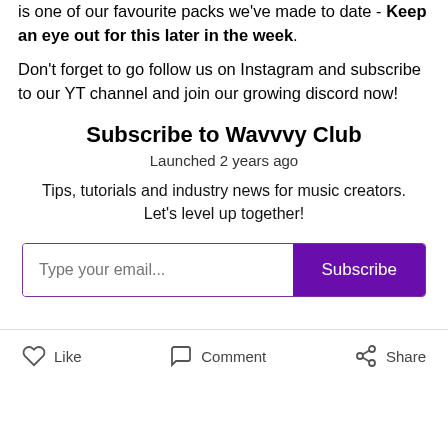is one of our favourite packs we've made to date - Keep an eye out for this later in the week.
Don't forget to go follow us on Instagram and subscribe to our YT channel and join our growing discord now!
Subscribe to Wavvvy Club
Launched 2 years ago
Tips, tutorials and industry news for music creators. Let's level up together!
[Figure (other): Email subscription form with text input placeholder 'Type your email...' and a purple Subscribe button]
Like   Comment   Share